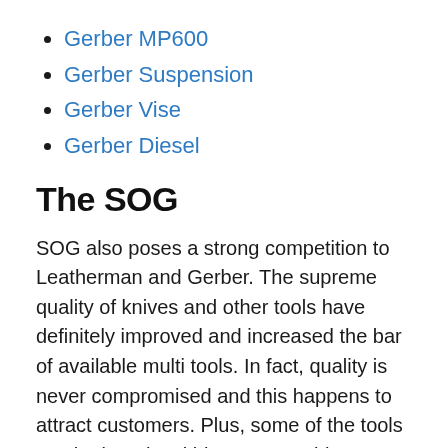Gerber MP600
Gerber Suspension
Gerber Vise
Gerber Diesel
The SOG
SOG also poses a strong competition to Leatherman and Gerber. The supreme quality of knives and other tools have definitely improved and increased the bar of available multi tools. In fact, quality is never compromised and this happens to attract customers. Plus, some of the tools can be bought within a reasonable budget, which is not always possible for Leatherman.
Some more text about SOG that is cut off at the bottom...